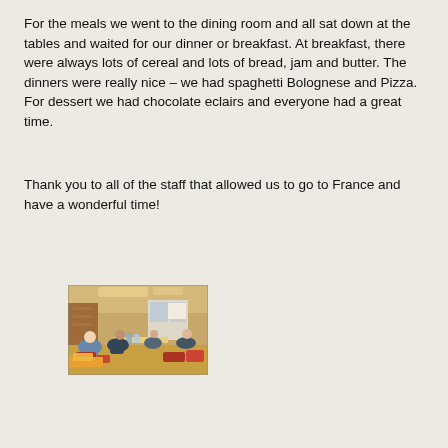For the meals we went to the dining room and all sat down at the tables and waited for our dinner or breakfast. At breakfast, there were always lots of cereal and lots of bread, jam and butter. The dinners were really nice – we had spaghetti Bolognese and Pizza. For dessert we had chocolate eclairs and everyone had a great time.
Thank you to all of the staff that allowed us to go to France and have a wonderful time!
[Figure (photo): Photo of people sitting in a dining room or lounge area on what appears to be a ferry or cafeteria setting, with chairs and tables visible.]